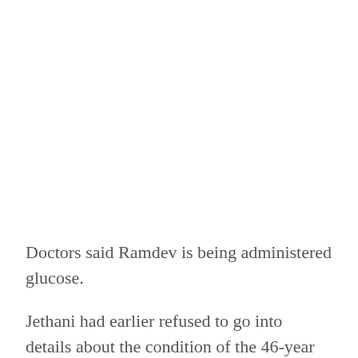Doctors said Ramdev is being administered glucose.
Jethani had earlier refused to go into details about the condition of the 46-year yoga guru, saying that a statement on his health would be given only after